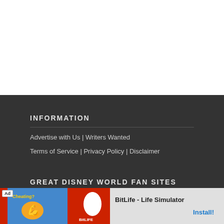INFORMATION
Advertise with Us | Writers Wanted
Terms of Service | Privacy Policy | Disclaimer
GREAT DISNEY WORLD FAN SITES
[Figure (other): Advertisement banner for BitLife - Life Simulator app with install button]